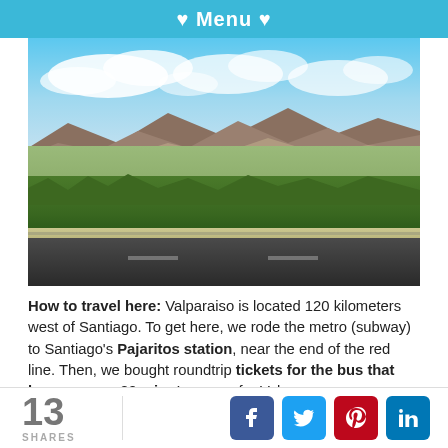♥ Menu ♥
[Figure (photo): Panoramic view from a highway overlook showing a wide valley with green vegetation, mountains in the background under a partly cloudy blue sky, with a road and guardrail in the foreground]
How to travel here: Valparaiso is located 120 kilometers west of Santiago. To get here, we rode the metro (subway) to Santiago's Pajaritos station, near the end of the red line. Then, we bought roundtrip tickets for the bus that leaves every 30 minutes or so for Valpo
13 SHARES